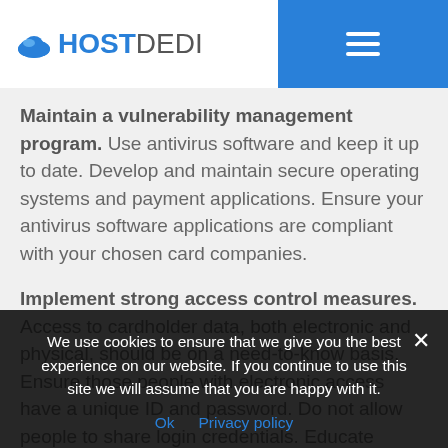HOSTDEDI
Maintain a vulnerability management program. Use antivirus software and keep it up to date. Develop and maintain secure operating systems and payment applications. Ensure your antivirus software applications are compliant with your chosen card companies.
Implement strong access control measures. Access to cardholder data, both electronic and physical, should be on a need-to-know basis. Ensure those people with electronic access have a unique ID and password. Do not allow people to share login credentials. Educate yourself and your
We use cookies to ensure that we give you the best experience on our website. If you continue to use this site we will assume that you are happy with it.
Ok  Privacy policy